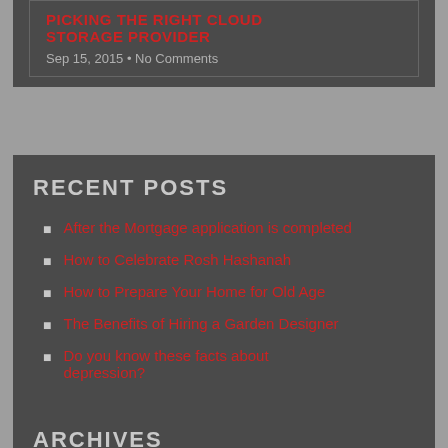PICKING THE RIGHT CLOUD STORAGE PROVIDER
Sep 15, 2015 • No Comments
RECENT POSTS
After the Mortgage application is completed
How to Celebrate Rosh Hashanah
How to Prepare Your Home for Old Age
The Benefits of Hiring a Garden Designer
Do you know these facts about depression?
ARCHIVES